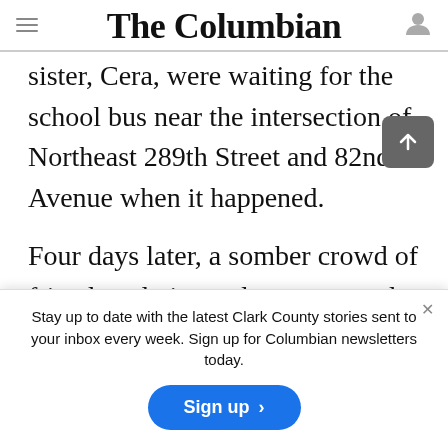The Columbian
sister, Cera, were waiting for the school bus near the intersection of Northeast 289th Street and 82nd Avenue when it happened.
Four days later, a somber crowd of friends, relatives, classmates and even strangers who
Stay up to date with the latest Clark County stories sent to your inbox every week. Sign up for Columbian newsletters today.